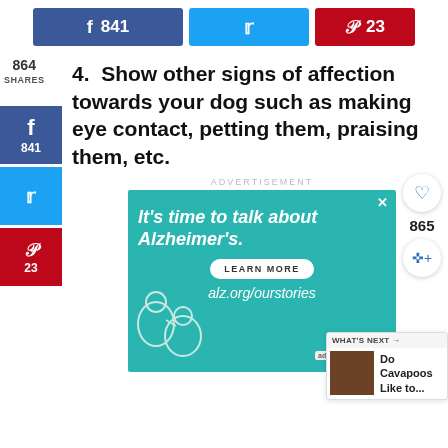[Figure (screenshot): Social share buttons row: Facebook (841 shares, dark blue), Twitter (light blue), Pinterest (23 shares, red)]
4. Show other signs of affection towards your dog such as making eye contact, petting them, praising them, etc.
[Figure (infographic): 864 SHARES sidebar with Facebook (841), Twitter, Pinterest (23) vertical share buttons on left side]
[Figure (advertisement): Alzheimer's Association ad: 'It's time to talk about Alzheimer's.' with LEARN MORE button and alz.org/ourstories URL on teal background with illustration of two elderly people]
[Figure (screenshot): WHAT'S NEXT panel: 'Do Cavapoos Like to...' with dog thumbnail. Right panel with heart (865) and share icons.]